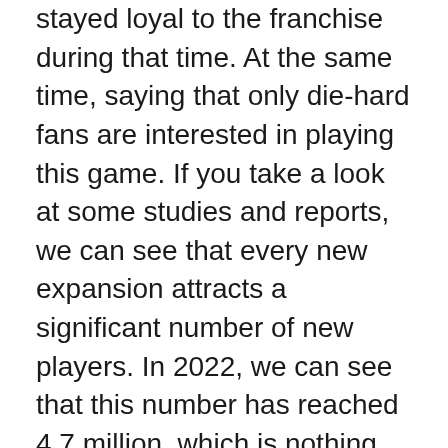stayed loyal to the franchise during that time. At the same time, saying that only die-hard fans are interested in playing this game. If you take a look at some studies and reports, we can see that every new expansion attracts a significant number of new players. In 2022, we can see that this number has reached 4.7 million, which is nothing short of exceptional.
We've already mentioned that every expansion brings something entirely new to the table. With so many features present in all of these games, it can be quite hard to determine what way you will go while you are on this journey. For that reason, we would like to provide you with the best PvE classes you can choose from. Knowing them